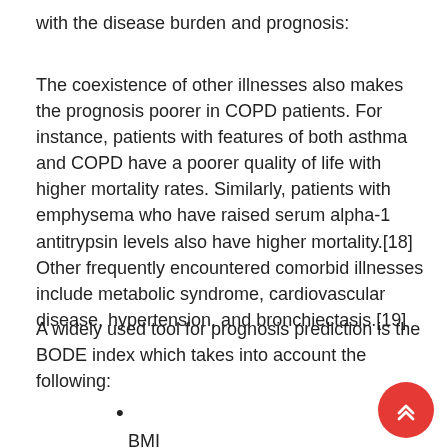with the disease burden and prognosis:
The coexistence of other illnesses also makes the prognosis poorer in COPD patients. For instance, patients with features of both asthma and COPD have a poorer quality of life with higher mortality rates. Similarly, patients with emphysema who have raised serum alpha-1 antitrypsin levels also have higher mortality.[18] Other frequently encountered comorbid illnesses include metabolic syndrome, cardiovascular disease, hypertension, and bronchiectasis.[19]
A widely used tool for prognosis prediction is the BODE index which takes into account the following:
BMI